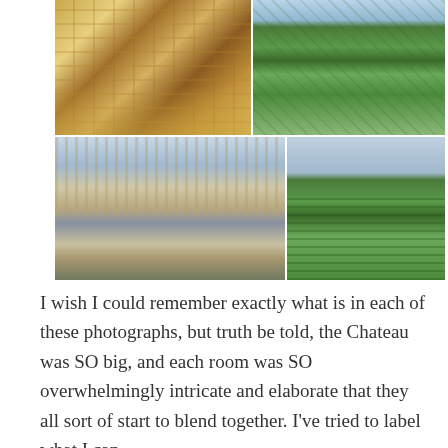[Figure (photo): A 2x2 grid of four photographs of the Palace of Versailles and its grounds. Top left: ornate gilded interior room with decorative ceiling and furnishings. Top right: aerial view of the formal French gardens with geometric hedgerows and the palace in the background. Bottom left: exterior facade of the Palace of Versailles with a group of tourists posing in front on the gravel path. Bottom right: close-up of the formal garden hedgerows and topiary.]
I wish I could remember exactly what is in each of these photographs, but truth be told, the Chateau was SO big, and each room was SO overwhelmingly intricate and elaborate that they all sort of start to blend together. I've tried to label what I can